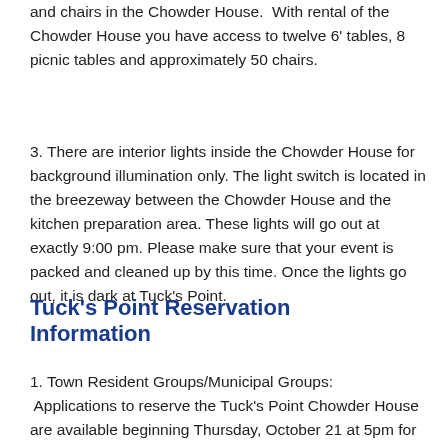and chairs in the Chowder House.  With rental of the Chowder House you have access to twelve 6' tables, 8 picnic tables and approximately 50 chairs.
3. There are interior lights inside the Chowder House for background illumination only. The light switch is located in the breezeway between the Chowder House and the kitchen preparation area. These lights will go out at exactly 9:00 pm. Please make sure that your event is packed and cleaned up by this time. Once the lights go out, it is dark at Tuck's Point.
Tuck's Point Reservation Information
1. Town Resident Groups/Municipal Groups:  Applications to reserve the Tuck's Point Chowder House are available beginning Thursday, October 21 at 5pm for the following calendar year (2022). To